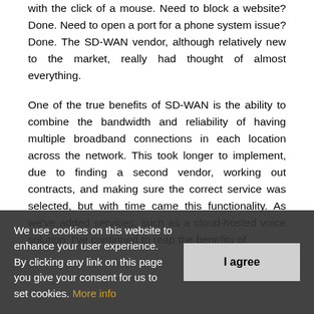with the click of a mouse. Need to block a website? Done. Need to open a port for a phone system issue? Done. The SD-WAN vendor, although relatively new to the market, really had thought of almost everything.
One of the true benefits of SD-WAN is the ability to combine the bandwidth and reliability of having multiple broadband connections in each location across the network. This took longer to implement, due to finding a second vendor, working out contracts, and making sure the correct service was selected, but with time came this functionality. As we've added services, such as a cloud-hosted voice solution. I've continued to reap the benefits of
We use cookies on this website to enhance your user experience. By clicking any link on this page you give your consent for us to set cookies. More info